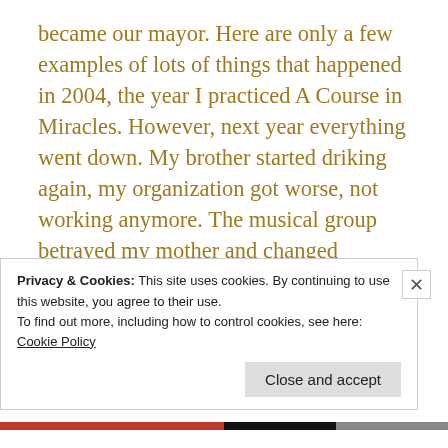became our mayor. Here are only a few examples of lots of things that happened in 2004, the year I practiced A Course in Miracles. However, next year everything went down. My brother started driking again, my organization got worse, not working anymore. The musical group betrayed my mother and changed everyhing.I was not accepted in the group. Even the mayor was not so good as we hoped. 🙂 As I didn't get any explanation I found one for myself: problem was I stopped it. The course
Privacy & Cookies: This site uses cookies. By continuing to use this website, you agree to their use.
To find out more, including how to control cookies, see here:
Cookie Policy
Close and accept